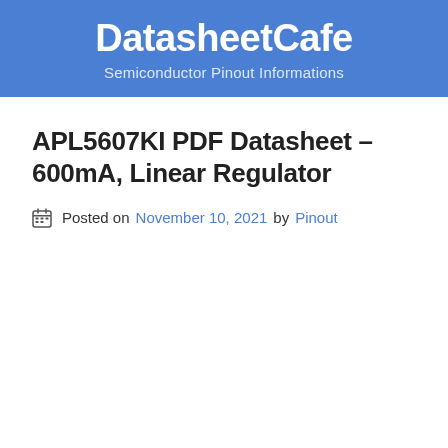DatasheetCafe
Semiconductor Pinout Informations
APL5607KI PDF Datasheet – 600mA, Linear Regulator
Posted on November 10, 2021 by Pinout